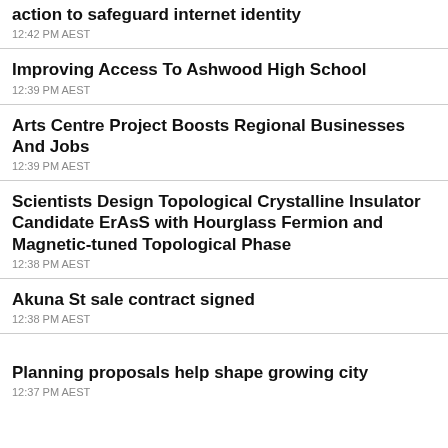action to safeguard internet identity
12:42 PM AEST
Improving Access To Ashwood High School
12:39 PM AEST
Arts Centre Project Boosts Regional Businesses And Jobs
12:39 PM AEST
Scientists Design Topological Crystalline Insulator Candidate ErAsS with Hourglass Fermion and Magnetic-tuned Topological Phase
12:38 PM AEST
Akuna St sale contract signed
12:38 PM AEST
Planning proposals help shape growing city
12:37 PM AEST